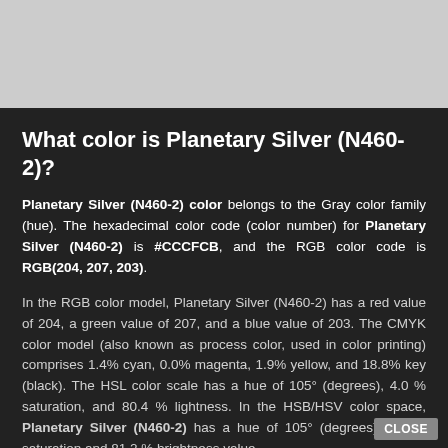[Figure (photo): Light gray color swatch background filling the top portion of the page, representing the Planetary Silver (N460-2) color.]
What color is Planetary Silver (N460-2)?
Planetary Silver (N460-2) color belongs to the Gray color family (hue). The hexadecimal color code (color number) for Planetary Silver (N460-2) is #CCCFCB, and the RGB color code is RGB(204, 207, 203).
In the RGB color model, Planetary Silver (N460-2) has a red value of 204, a green value of 207, and a blue value of 203. The CMYK color model (also known as process color, used in color printing) comprises 1.4% cyan, 0.0% magenta, 1.9% yellow, and 18.8% key (black). The HSL color scale has a hue of 105° (degrees), 4.0 % saturation, and 80.4 % lightness. In the HSB/HSV color space, Planetary Silver (N460-2) has a hue of 105° (degrees), 1.9 % saturation and 81.2 % brightness value.